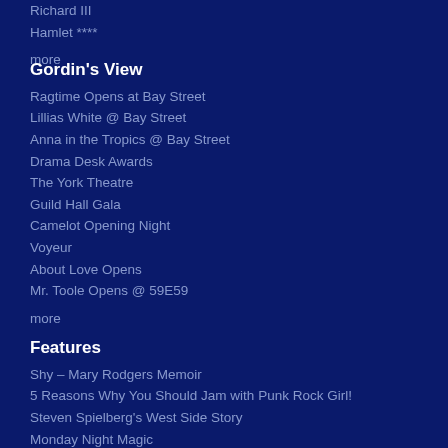Richard III
Hamlet ****
more
Gordin's View
Ragtime Opens at Bay Street
Lillias White @ Bay Street
Anna in the Tropics @ Bay Street
Drama Desk Awards
The York Theatre
Guild Hall Gala
Camelot Opening Night
Voyeur
About Love Opens
Mr. Toole Opens @ 59E59
more
Features
Shy – Mary Rodgers Memoir
5 Reasons Why You Should Jam with Punk Rock Girl!
Steven Spielberg's West Side Story
Monday Night Magic
Chicken & Biscuits
Broadway Update: Funny Girl Confirmed; West Side Won't Be